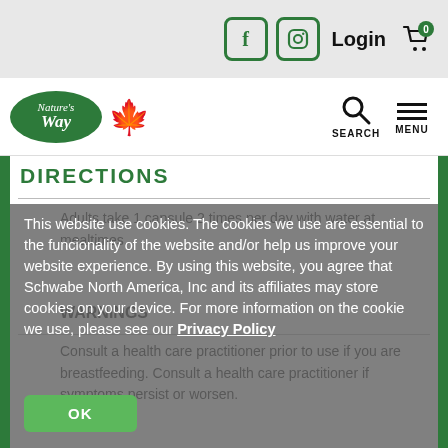Login | Facebook | Instagram | Cart (0)
[Figure (logo): Nature's Way Canada logo with maple leaf]
DIRECTIONS
Adults take 1 capsule 2 times per day with water at mealtimes.
WARNINGS
Consult a health care practitioner prior to use if you are breastfeeding. Consult a health care practitioner if symptoms persist or worsen.
This website use cookies. The cookies we use are essential to the funcionality of the website and/or help us improve your website experience. By using this website, you agree that Schwabe North America, Inc and its affiliates may store cookies on your device. For more information on the cookie we use, please see our Privacy Policy
OK